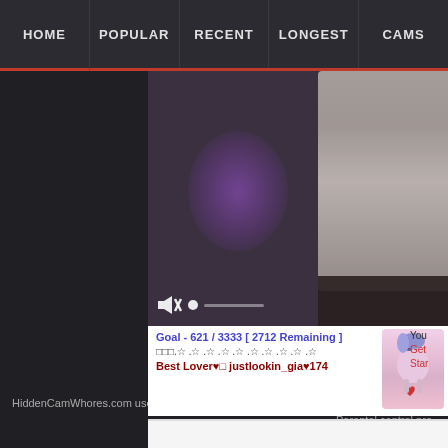HOME  POPULAR  RECENT  LONGEST  CAMS
[Figure (screenshot): Live webcam stream showing a person in a room with purple ambient lighting, with video player controls (mute icon) visible at bottom left of video]
Goal - 621 / 3333 [ 2712 Remaining ]
□□□.☆ .☆ .☆ .☆ .☆ .☆ .☆ .☆ .☆ .☆
Best Lover♥□ justlookin_gia♥174
HiddenCamWhores.com uses the "Restricted
Parental control pro
Home   Popular   Recent